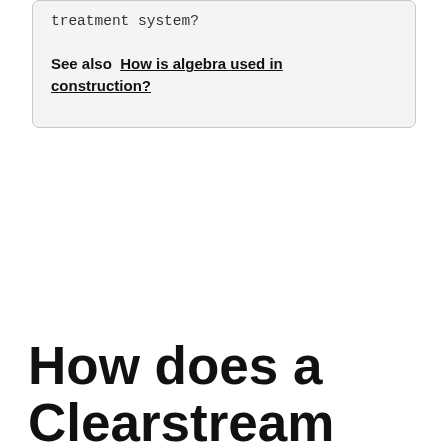treatment system?
See also  How is algebra used in construction?
How does a Clearstream septic system work? – Related Questions
How does a raised bed septic system work?
The mound is a drainfield that is raised